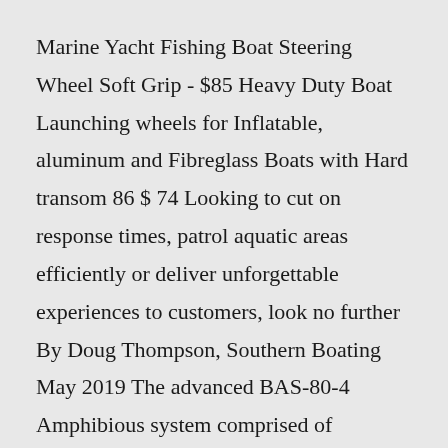Marine Yacht Fishing Boat Steering Wheel Soft Grip - $85 Heavy Duty Boat Launching wheels for Inflatable, aluminum and Fibreglass Boats with Hard transom 86 $ 74 Looking to cut on response times, patrol aquatic areas efficiently or deliver unforgettable experiences to customers, look no further By Doug Thompson, Southern Boating May 2019 The advanced BAS-80-4 Amphibious system comprised of